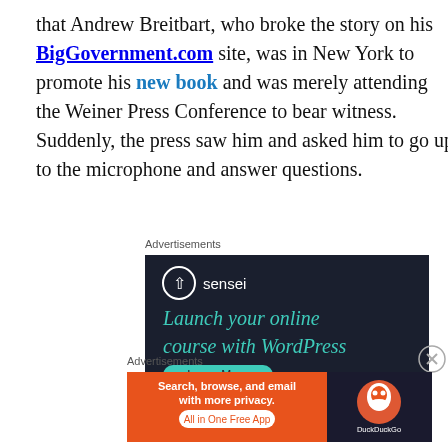that Andrew Breitbart, who broke the story on his BigGovernment.com site, was in New York to promote his new book and was merely attending the Weiner Press Conference to bear witness. Suddenly, the press saw him and asked him to go up to the microphone and answer questions.
Advertisements
[Figure (other): Sensei advertisement: dark background with Sensei logo and text 'Launch your online course with WordPress' and a 'Learn More' button]
Advertisements
[Figure (other): DuckDuckGo advertisement: orange background with text 'Search, browse, and email with more privacy. All in One Free App' and DuckDuckGo logo on dark right panel]